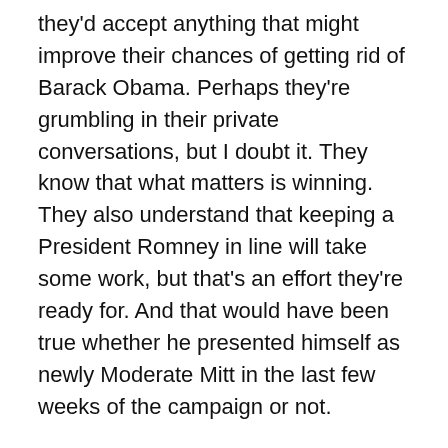they'd accept anything that might improve their chances of getting rid of Barack Obama. Perhaps they're grumbling in their private conversations, but I doubt it. They know that what matters is winning. They also understand that keeping a President Romney in line will take some work, but that's an effort they're ready for. And that would have been true whether he presented himself as newly Moderate Mitt in the last few weeks of the campaign or not.
Romney also probably understood that if he waited long enough, the press wouldn't punish him much for an ideological refashioning either. At the end of a campaign, horse-race reporting and the focus on the most trivial of campaign quibbles goes from being a bias that colors coverage to swallowing the entirety of coverage. Who has time to write a story about Romney's latest ideological